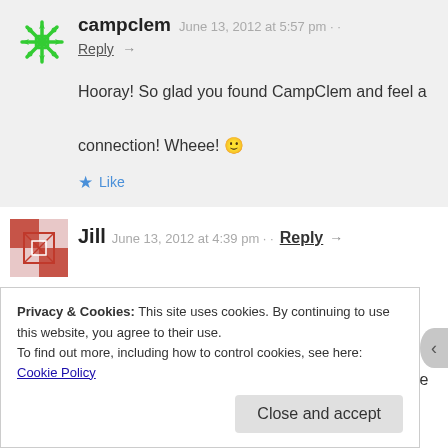campclem   June 13, 2012 at 5:57 pm · ·
Reply →
Hooray! So glad you found CampClem and feel a connection! Wheee! 🙂
★ Like
Jill   June 13, 2012 at 4:39 pm · ·   Reply →
Love your Ideas but i still need some help. Ever hear of BUNCO. I need prizes ideas. I love the dollar tree but just not
Privacy & Cookies: This site uses cookies. By continuing to use this website, you agree to their use.
To find out more, including how to control cookies, see here: Cookie Policy
Close and accept